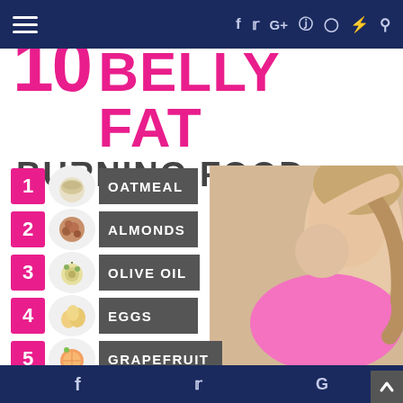navigation and social icons header bar
10 BELLY FAT BURNING FOOD
1 OATMEAL
2 ALMONDS
3 OLIVE OIL
4 EGGS
5 GRAPEFRUIT
[Figure (photo): Woman in pink sports bra with hair up, fitness pose]
f  Twitter bird  G  back-to-top arrow